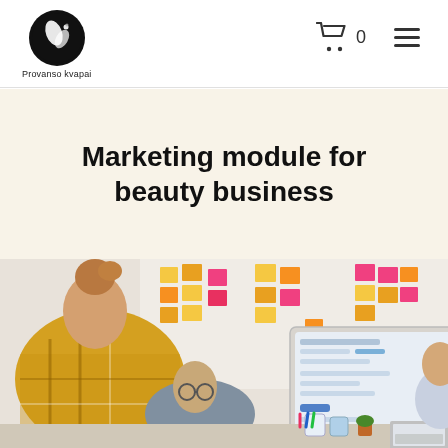Provanso kvapai — navigation bar with logo, cart (0), and menu
Marketing module for beauty business
[Figure (photo): Team of people working around a monitor displaying a software dashboard, with colorful sticky notes (pink, yellow, orange) on a white wall behind them. One person in a yellow plaid shirt leans over a desk, another person in a black shirt and grey blazer points at the wall, others are partially visible.]